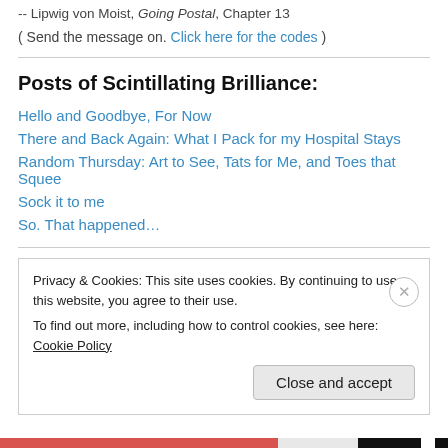-- Lipwig von Moist, Going Postal, Chapter 13
( Send the message on. Click here for the codes )
Posts of Scintillating Brilliance:
Hello and Goodbye, For Now
There and Back Again: What I Pack for my Hospital Stays
Random Thursday: Art to See, Tats for Me, and Toes that Squee
Sock it to me
So. That happened…
Privacy & Cookies: This site uses cookies. By continuing to use this website, you agree to their use. To find out more, including how to control cookies, see here: Cookie Policy